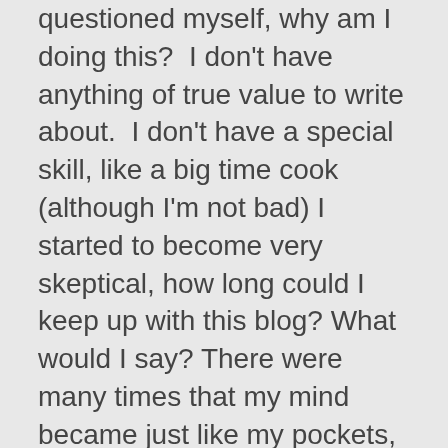questioned myself, why am I doing this? I don't have anything of true value to write about. I don't have a special skill, like a big time cook (although I'm not bad) I started to become very skeptical, how long could I keep up with this blog? What would I say? There were many times that my mind became just like my pockets, empty at the moment. It did take me awhile to find my voice. I do struggle at times with being able to open up. I did come to the realization that I would blog about the little things that I experience along the road of life.
I have learned a lot more about myself and feel more relaxed as I continue to grow through this process. I have made connections, new friends and learned so much. Blogging has definitely been different from what I first expected but I've found it to be more rewarding than I ever thought possible. At this point, telling a bunch of